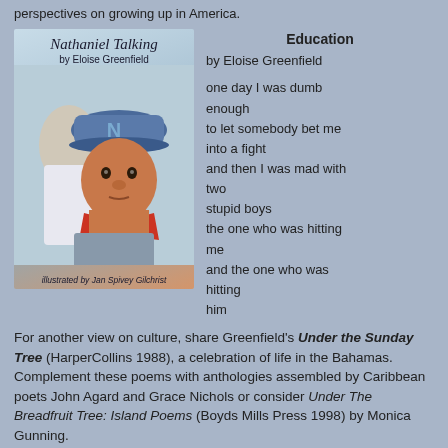perspectives on growing up in America.
[Figure (illustration): Book cover of 'Nathaniel Talking' by Eloise Greenfield, illustrated by Jan Spivey Gilchrist. Shows a young Black boy wearing a blue cap with the letter N and a red bandana, with another figure behind him. Background is light blue. Text on cover reads: 'Nathaniel Talking by Eloise Greenfield' and 'illustrated by Jan Spivey Gilchrist'.]
Education
by Eloise Greenfield

one day I was dumb enough
to let somebody bet me into a fight
and then I was mad with two
stupid boys
the one who was hitting me
and the one who was hitting
him
For another view on culture, share Greenfield's Under the Sunday Tree (HarperCollins 1988), a celebration of life in the Bahamas. Complement these poems with anthologies assembled by Caribbean poets John Agard and Grace Nichols or consider Under The Breadfruit Tree: Island Poems (Boyds Mills Press 1998) by Monica Gunning.